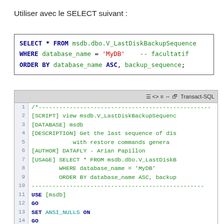Utiliser avec le SELECT suivant :
[Figure (screenshot): SQL code box showing: SELECT * FROM msdb.dbo.V_LastDiskBackupSequence WHERE database_name = 'MyDB' -- facultatif ORDER BY database_name ASC, backup_sequence;]
[Figure (screenshot): SQL editor (Transact-SQL) showing lines 1-19 of a script creating view V_LastDiskBackupSequence in msdb database with USE, GO, SET statements and CREATE/ALTER VIEW]